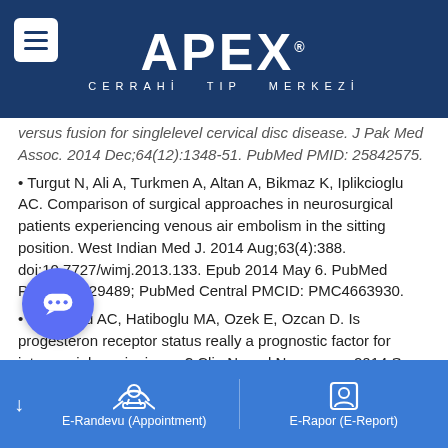APEX CERRAHİ TIP MERKEZİ
versus fusion for singlelevel cervical disc disease. J Pak Med Assoc. 2014 Dec;64(12):1348-51. PubMed PMID: 25842575.
• Turgut N, Ali A, Turkmen A, Altan A, Bikmaz K, Iplikcioglu AC. Comparison of surgical approaches in neurosurgical patients experiencing venous air embolism in the sitting position. West Indian Med J. 2014 Aug;63(4):388. doi:10.7727/wimj.2013.133. Epub 2014 May 6. PubMed PMID: 25429489; PubMed Central PMCID: PMC4663930.
• Iplikcioglu AC, Hatiboglu MA, Ozek E, Ozcan D. Is progesteron receptor status really a prognostic factor for intracranial meningiomas? Clin Neurol Neurosurg. 2014 Sep; 124:119-22. doi:10.1016/ j.clineuro.2014.06.015. Epub 2014 Jul 1. PubMed PMID: 25036873.
• Karabaǧ H, Cakmak E, Celik B, Iplikçioğlu AC. Pericallosal lipoma associated with subcutaneous lipoma in an adult. J Neurosci Rural Pract. Jan;5(1):91-3. doi: 10.4103/0976-3147.127932. PubMed PMID: 24741267; PubMed Central PMCID: PMC3985377.
E-Randevu (Appointment)    E-Rapor (E-Report)